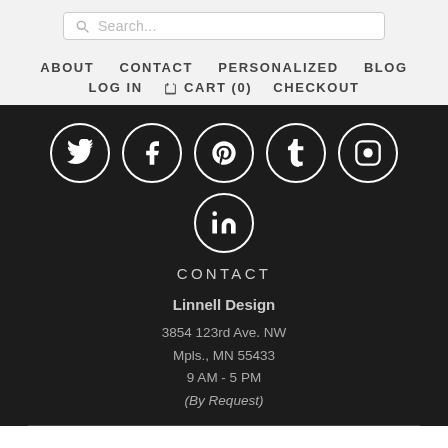[Figure (screenshot): Search bar with magnifying glass icon and placeholder text 'Search...']
ABOUT   CONTACT   PERSONALIZED   BLOG
LOG IN   🛒 CART (0)   CHECKOUT
[Figure (other): Six social media icon circles: Twitter, Facebook, Pinterest, Tumblr, Instagram, LinkedIn]
CONTACT
Linnell Design
3854 123rd Ave. NW
Mpls., MN 55433
9 AM - 5 PM
(By Request)